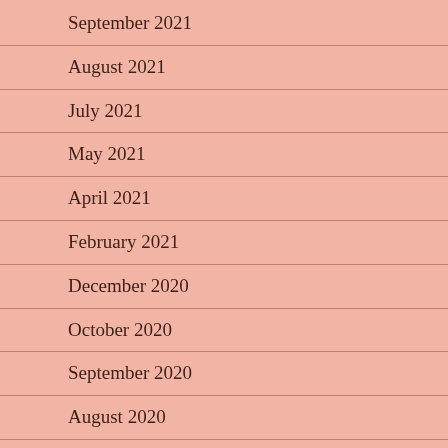September 2021
August 2021
July 2021
May 2021
April 2021
February 2021
December 2020
October 2020
September 2020
August 2020
July 2020